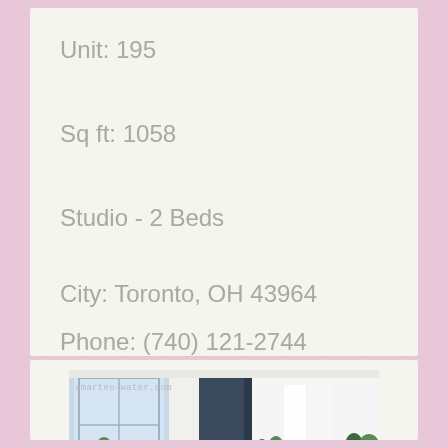Unit: 195
Sq ft: 1058
Studio - 2 Beds
City: Toronto, OH 43964
Phone: (740) 121-2744
[Figure (photo): Interior room photo showing a modern apartment space with plants, large windows, and white walls. Watermark reads smarteo-water.com]